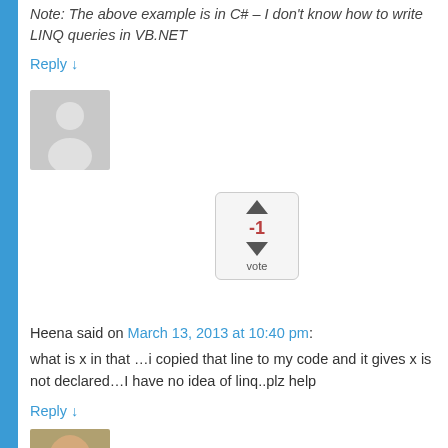Note: The above example is in C# – I don't know how to write LINQ queries in VB.NET
Reply ↓
[Figure (photo): Generic user avatar placeholder (grey silhouette)]
[Figure (infographic): Vote widget showing -1 with up and down arrows and vote label]
Heena said on March 13, 2013 at 10:40 pm:
what is x in that …i copied that line to my code and it gives x is not declared…I have no idea of linq..plz help
Reply ↓
[Figure (photo): Profile photo of a man with short hair]